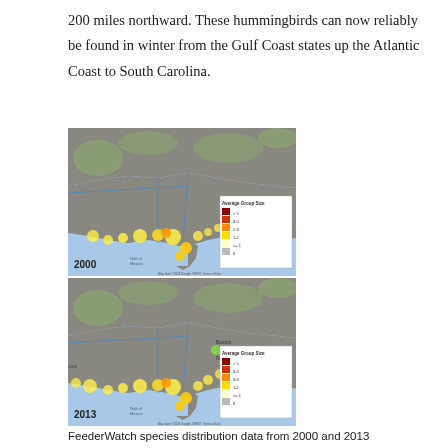200 miles northward. These hummingbirds can now reliably be found in winter from the Gulf Coast states up the Atlantic Coast to South Carolina.
[Figure (map): Map of eastern North America showing hummingbird distribution in year 2000 with Average Group Size legend (dark red >5, red 3-5, orange 2-3, yellow 1-2, light yellow <=1, gray 0). Yellow and orange dots concentrated along Gulf Coast and southeastern Atlantic Coast.]
[Figure (map): Map of eastern North America showing hummingbird distribution in year 2013 with Average Group Size legend (dark red >5, red 3-5, orange 3-3, yellow 1-2, light yellow <=1, gray 0). Yellow and orange dots spread further north along Atlantic Coast compared to 2000.]
FeederWatch species distribution data from 2000 and 2013 demonstrate the